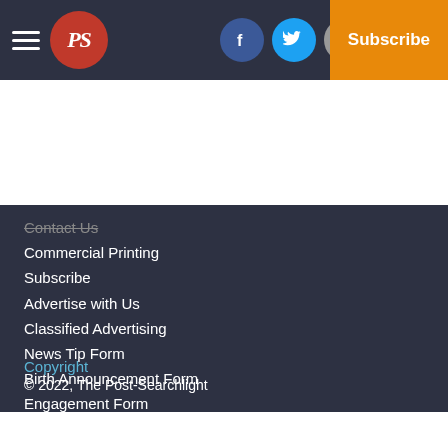PS logo header with hamburger menu, social icons (Facebook, Twitter, Email), Log In, Subscribe
Contact Us
Commercial Printing
Subscribe
Advertise with Us
Classified Advertising
News Tip Form
Birth Announcement Form
Engagement Form
Wedding Form
Submit an Event
Letter to the Editor Form
Copyright
© 2022, The Post-Searchlight